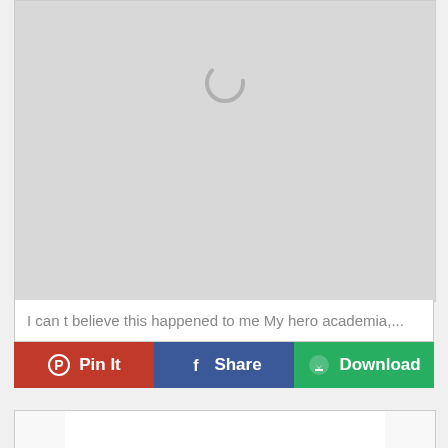[Figure (screenshot): Loading placeholder card with a spinner circle on a light grey background]
I can t believe this happened to me My hero academia,...
[Figure (screenshot): Three action buttons: Pin It (red), Share (blue), Download (green)]
[Figure (screenshot): Partially visible second card at the bottom of the page]